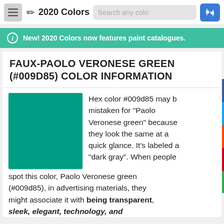2020 Colors — navigation bar with hamburger menu, pencil icon, search box, and random button
New! 2020 Colors now features paint catalogues.
FAUX-PAOLO VERONESE GREEN (#009D85) COLOR INFORMATION
[Figure (illustration): Solid color swatch of #009d85 (Paolo Veronese green / teal-green)]
Hex color #009d85 may be mistaken for "Paolo Veronese green" because they look the same at a quick glance. It's labeled a "dark gray". When people spot this color, Paolo Veronese green (#009d85), in advertising materials, they might associate it with being transparent, sleek, elegant, technology, and